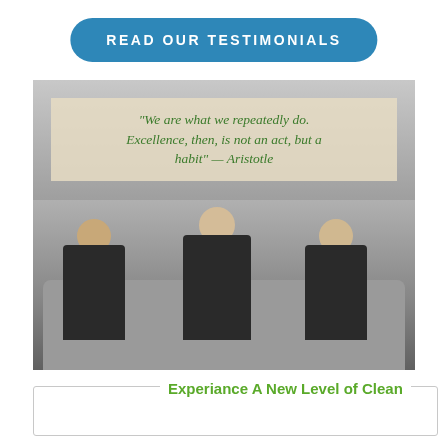READ OUR TESTIMONIALS
[Figure (photo): Black and white photograph of three women in black shirts sitting on a sofa, with a framed quote banner on the wall behind them reading: "We are what we repeatedly do. Excellence, then, is not an act, but a habit" — Aristotle]
Experiance A New Level of Clean